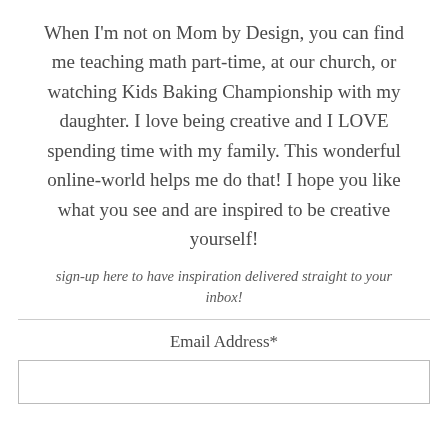When I'm not on Mom by Design, you can find me teaching math part-time, at our church, or watching Kids Baking Championship with my daughter. I love being creative and I LOVE spending time with my family. This wonderful online-world helps me do that! I hope you like what you see and are inspired to be creative yourself!
sign-up here to have inspiration delivered straight to your inbox!
Email Address*